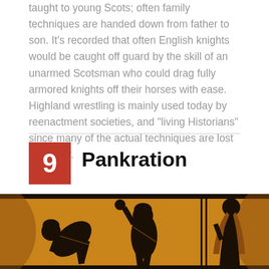taught to young Scots; often family techniques are handed down from father to son. It's recorded that often English knights would be caught off guard by the skill of an unarmed Scotsman who could drag fully armored knights off their horses with ease. Highland wrestling is mainly used today by reenactment societies, and "living Historians" since many of the actual techniques are lost to history.
9 Pankration
[Figure (photo): Ancient Greek black-figure pottery painting depicting Pankration fighters. Three figures are shown: one bent over being struck, one in the middle with arm raised in a striking pose, and one figure on the right. The imagery is rendered in black silhouette on an orange/amber background typical of ancient Greek vase painting.]